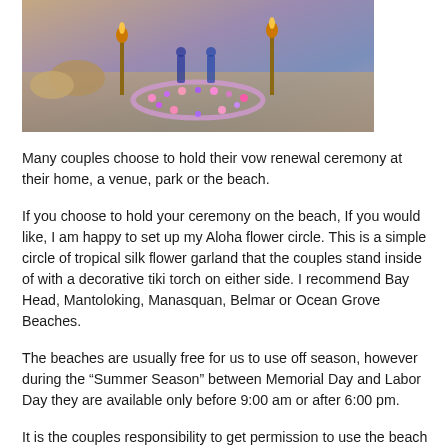[Figure (photo): Beach scene with candles, flower garland arranged in a circle on sand, with rocks and tiki torches visible in the background at dusk/evening.]
Many couples choose to hold their vow renewal ceremony at their home, a venue, park or the beach.
If you choose to hold your ceremony on the beach, If you would like, I am happy to set up my Aloha flower circle. This is a simple circle of tropical silk flower garland that the couples stand inside of with a decorative tiki torch on either side. I recommend Bay Head, Mantoloking, Manasquan, Belmar or Ocean Grove Beaches.
The beaches are usually free for us to use off season, however during the “Summer Season” between Memorial Day and Labor Day they are available only before 9:00 am or after 6:00 pm.
It is the couples responsibility to get permission to use the beach for thier wedding from the town. Please see my list of local beaches for